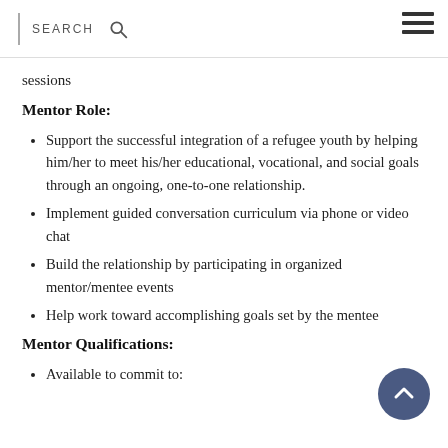SEARCH
sessions
Mentor Role:
Support the successful integration of a refugee youth by helping him/her to meet his/her educational, vocational, and social goals through an ongoing, one-to-one relationship.
Implement guided conversation curriculum via phone or video chat
Build the relationship by participating in organized mentor/mentee events
Help work toward accomplishing goals set by the mentee
Mentor Qualifications:
Available to commit to: